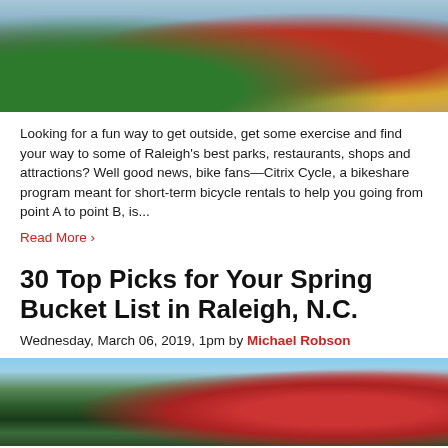[Figure (photo): Colorful Citrix Cycle bikeshare bicycles with decorative floral patterns on wheels, parked on a brick surface]
Looking for a fun way to get outside, get some exercise and find your way to some of Raleigh's best parks, restaurants, shops and attractions? Well good news, bike fans—Citrix Cycle, a bikeshare program meant for short-term bicycle rentals to help you going from point A to point B, is...
Read More >
30 Top Picks for Your Spring Bucket List in Raleigh, N.C.
Wednesday, March 06, 2019, 1pm by Michael Robson
[Figure (photo): Spring flowers — red blooms among tall pine trees with blue sky background]